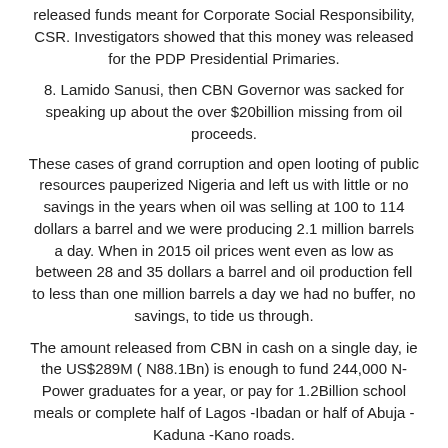released funds meant for Corporate Social Responsibility, CSR. Investigators showed that this money was released for the PDP Presidential Primaries.
8. Lamido Sanusi, then CBN Governor was sacked for speaking up about the over $20billion missing from oil proceeds.
These cases of grand corruption and open looting of public resources pauperized Nigeria and left us with little or no savings in the years when oil was selling at 100 to 114 dollars a barrel and we were producing 2.1 million barrels a day. When in 2015 oil prices went even as low as between 28 and 35 dollars a barrel and oil production fell to less than one million barrels a day we had no buffer, no savings, to tide us through.
The amount released from CBN in cash on a single day, ie the US$289M ( N88.1Bn) is enough to fund 244,000 N-Power graduates for a year, or pay for 1.2Billion school meals or complete half of Lagos -Ibadan or half of Abuja - Kaduna -Kano roads.
The Vice President also made the point that in 2014 with